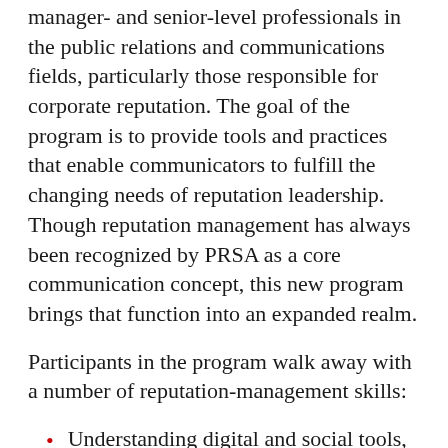This certificate program is especially aimed at manager- and senior-level professionals in the public relations and communications fields, particularly those responsible for corporate reputation. The goal of the program is to provide tools and practices that enable communicators to fulfill the changing needs of reputation leadership. Though reputation management has always been recognized by PRSA as a core communication concept, this new program brings that function into an expanded realm.
Participants in the program walk away with a number of reputation-management skills:
Understanding digital and social tools, and their various threats and opportunities for managing an organization's reputation